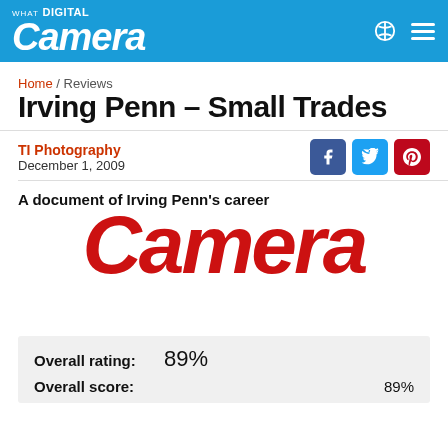What Digital Camera
Home / Reviews
Irving Penn – Small Trades
TI Photography
December 1, 2009
A document of Irving Penn's career
[Figure (logo): Large red italic Camera logo text]
| Overall rating: | 89% |
| Overall score: | 89% |